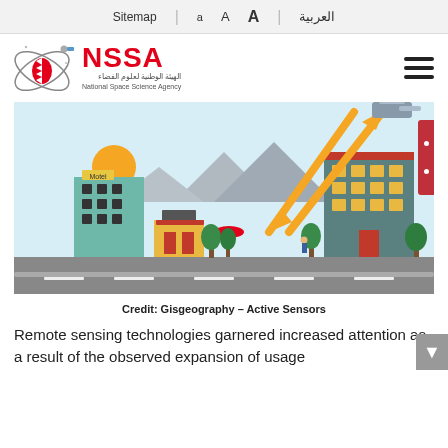Sitemap | a A A | العربية
[Figure (logo): NSSA - National Space Science Agency logo with orbital satellite graphic and Bahrain flag element]
[Figure (illustration): Remote sensing illustration showing a city with buildings, sun, trees, road, and orange arrows depicting active sensor signals between satellite/aircraft and ground (Credit: Gisgeography - Active Sensors)]
Credit: Gisgeography – Active Sensors
Remote sensing technologies garnered increased attention as a result of the observed expansion of usage